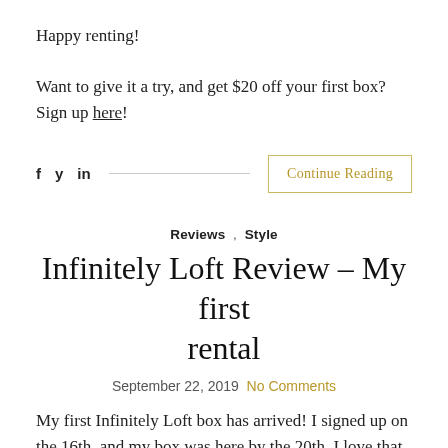Happy renting!
Want to give it a try, and get $20 off your first box? Sign up here!
f  y  in  [social share bar]  Continue Reading
Reviews , Style
Infinitely Loft Review – My first rental
September 22, 2019  No Comments
My first Infinitely Loft box has arrived! I signed up on the 16th, and my box was here by the 20th. I love that